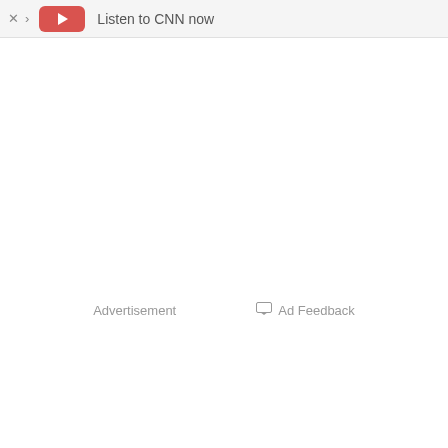Listen to CNN now
Advertisement
Ad Feedback